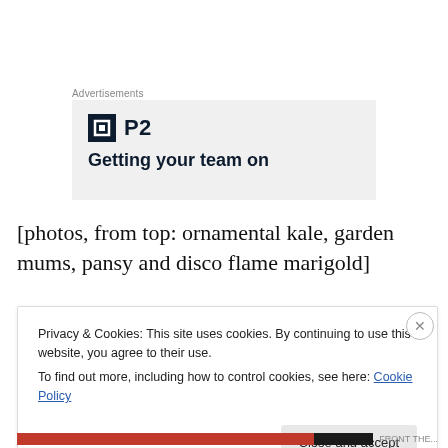Advertisements
[Figure (screenshot): Advertisement box with P2 logo (dark square with inner square icon) and text 'Getting your team on']
[photos, from top: ornamental kale, garden mums, pansy and disco flame marigold]
Privacy & Cookies: This site uses cookies. By continuing to use this website, you agree to their use.
To find out more, including how to control cookies, see here: Cookie Policy
Close and accept